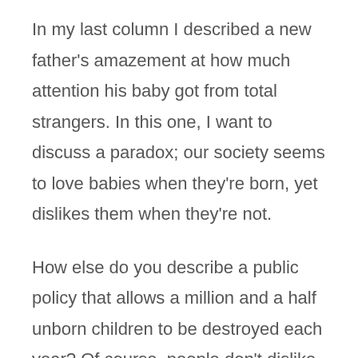In my last column I described a new father's amazement at how much attention his baby got from total strangers. In this one, I want to discuss a paradox; our society seems to love babies when they're born, yet dislikes them when they're not.
How else do you describe a public policy that allows a million and a half unborn children to be destroyed each year? Of course, people don't dislike their own unborn. Most of us want children, and when they come, we react with a standard mix of joy, worry and protectiveness. Even when they come unbidden, in awful circumstances, it's hard to